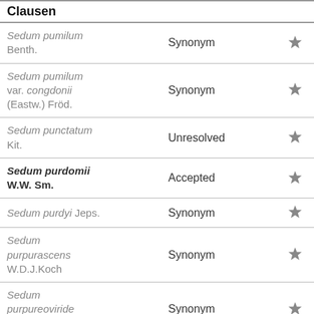| Clausen | Status |  |
| --- | --- | --- |
| Sedum pumilum Benth. | Synonym | ★ |
| Sedum pumilum var. congdonii (Eastw.) Fröd. | Synonym | ★ |
| Sedum punctatum Kit. | Unresolved | ★ |
| Sedum purdomii W.W. Sm. | Accepted | ★ |
| Sedum purdyi Jeps. | Synonym | ★ |
| Sedum purpurascens W.D.J.Koch | Synonym | ★ |
| Sedum purpureoviride Praeger | Synonym | ★ |
| Sedum purpureum (L.) Schult. | Synonym | ★ |
| Sedum purpusi Rose. | Synonym | ★ |